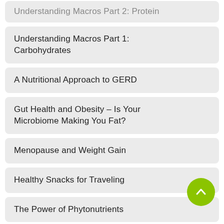Understanding Macros Part 2: Protein
Understanding Macros Part 1: Carbohydrates
A Nutritional Approach to GERD
Gut Health and Obesity – Is Your Microbiome Making You Fat?
Menopause and Weight Gain
Healthy Snacks for Traveling
The Power of Phytonutrients
Healthy Eating For the Holidays: 8 Tips on How To Avoid Those Extra Pounds